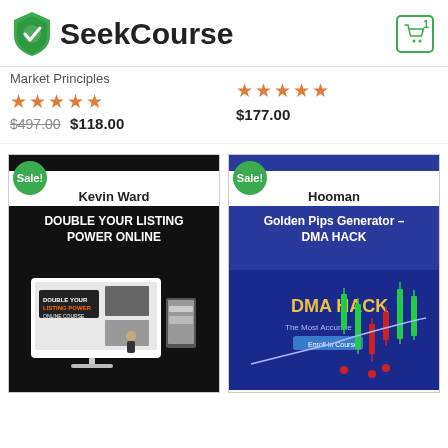SeekCourse
Market Principles
★★★★★ $497.00 $118.00
★★★★★ $177.00
Kevin Ward
[Figure (screenshot): Course card for Double Your Listing Power Online by Kevin Ward with Sale badge]
Hooman
[Figure (screenshot): Course card for Golden Pips Generator – DMA HACK by Hooman with Sale badge and DMA HACK chart image]